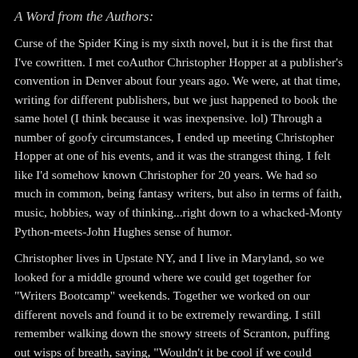A Word from the Authors:
Curse of the Spider King is my sixth novel, but it is the first that I've cowritten. I met coAuthor Christopher Hopper at a publisher's convention in Denver about four years ago. We were, at that time, writing for different publishers, but we just happened to book the same hotel (I think because it was inexpensive. lol) Through a number of goofy circumstances, I ended up meeting Christopher Hopper at one of his events, and it was the strangest thing. I felt like I'd somehow known Christopher for 20 years. We had so much in common, being fantasy writers, but also in terms of faith, music, hobbies, way of thinking...right down to a whacked-Monty Python-meets-John Hughes sense of humor.
Christopher lives in Upstate NY, and I live in Maryland, so we looked for a middle ground where we could get together for "Writers Bootcamp" weekends. Together we worked on our different novels and found it to be extremely rewarding. I still remember walking down the snowy streets of Scranton, puffing out wisps of breath, saying, "Wouldn't it be cool if we could